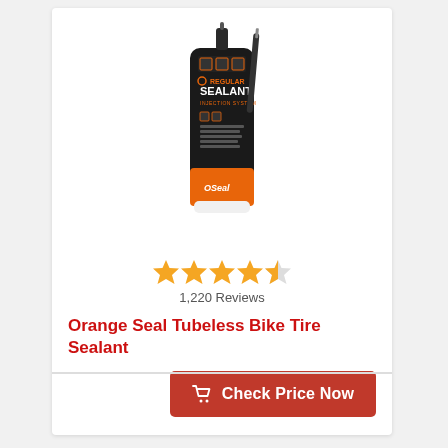[Figure (photo): Orange Seal Regular Sealant Injection System bottle, black and orange label]
★★★★½  1,220 Reviews
Orange Seal Tubeless Bike Tire Sealant
Check Price Now